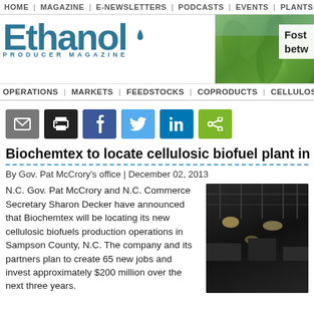HOME | MAGAZINE | E-NEWSLETTERS | PODCASTS | EVENTS | PLANTS
[Figure (logo): Ethanol Producer Magazine logo in teal/blue, large bold text with water drop]
[Figure (photo): Agricultural advertisement banner with green corn plants and text 'Fost- betw-']
OPERATIONS | MARKETS | FEEDSTOCKS | COPRODUCTS | CELLULOS
[Figure (infographic): Social sharing icons: email (gray), print (black), facebook (blue), twitter (light blue), linkedin (dark blue), share (green)]
Biochemtex to locate cellulosic biofuel plant in
By Gov. Pat McCrory's office | December 02, 2013
N.C. Gov. Pat McCrory and N.C. Commerce Secretary Sharon Decker have announced that Biochemtex will be locating its new cellulosic biofuels production operations in Sampson County, N.C. The company and its partners plan to create 65 new jobs and invest approximately $200 million over the next three years.
[Figure (photo): Interior of industrial facility with dark ceiling structure and lights]